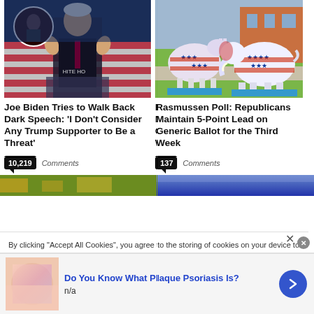[Figure (photo): Joe Biden speaking at White House podium with hands raised, circled inset of another speaker in top left]
Joe Biden Tries to Walk Back Dark Speech: ‘I Don’t Consider Any Trump Supporter to Be a Threat’
10,219 Comments
[Figure (photo): Patriotic decorated donkey and elephant statues with American flag stars and stripes pattern on lawn]
Rasmussen Poll: Republicans Maintain 5-Point Lead on Generic Ballot for the Third Week
137 Comments
[Figure (photo): Green background partial image (bottom strip left)]
[Figure (photo): Blue gradient background partial image (bottom strip right)]
By clicking “Accept All Cookies”, you agree to the storing of cookies on your device to enhance site navigation, analyze site usage, and assist in our marketing
[Figure (photo): Advertisement image with skin texture background]
Do You Know What Plaque Psoriasis Is?
n/a